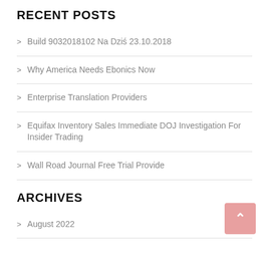RECENT POSTS
Build 9032018102 Na Dziś 23.10.2018
Why America Needs Ebonics Now
Enterprise Translation Providers
Equifax Inventory Sales Immediate DOJ Investigation For Insider Trading
Wall Road Journal Free Trial Provide
ARCHIVES
August 2022